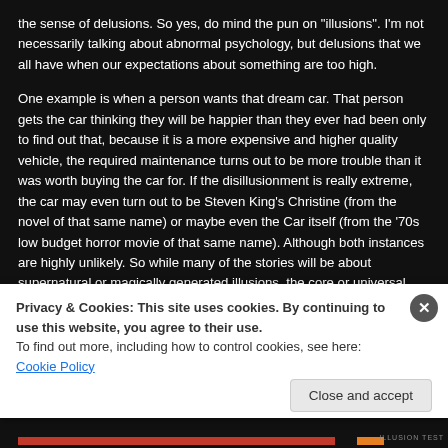the sense of delusions. So yes, do mind the pun on "illusions". I'm not necessarily talking about abnormal psychology, but delusions that we all have when our expectations about something are too high.
One example is when a person wants that dream car. That person gets the car thinking they will be happier than they ever had been only to find out that, because it is a more expensive and higher quality vehicle, the required maintenance turns out to be more trouble than it was worth buying the car for. If the disillusionment is really extreme, the car may even turn out to be Steven King's Christine (from the novel of that same name) or maybe even the Car itself (from the '70s low budget horror movie of that same name). Although both instances are highly unlikely. So while many of the stories will be about supernatural or magically generated illusions, the core or universal meaning will be about our misconceptions of life. This is what many myths do, which all forms of story telling are—they tell a truth or fact about life through imaginary means. Therefore all stories, in a way, are illusions.
Privacy & Cookies: This site uses cookies. By continuing to use this website, you agree to their use.
To find out more, including how to control cookies, see here: Cookie Policy
Close and accept